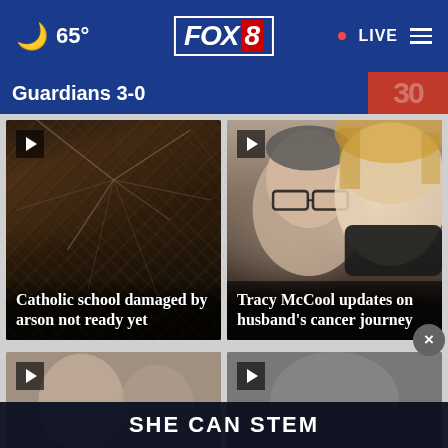🌙 65° FOX 8 • LIVE ☰
Guardians 3-0
[Figure (screenshot): News video thumbnail showing damaged building interior with spider web cracks]
Catholic school damaged by arson not ready yet
[Figure (photo): Selfie photo of two people, a man wearing glasses and a woman, the woman wearing a black mask]
Tracy McCool updates on husband's cancer journey
[Figure (screenshot): Partially visible bottom-left video thumbnail]
[Figure (screenshot): Partially visible bottom-right video thumbnail]
SHE CAN STEM